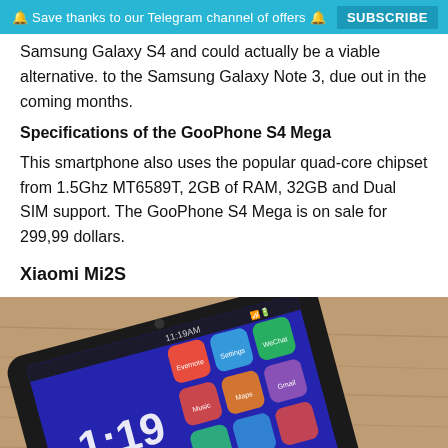🔔 Save thanks to our Telegram channel of offers 🔔  SUBSCRIBE
Samsung Galaxy S4 and could actually be a viable alternative. to the Samsung Galaxy Note 3, due out in the coming months.
Specifications of the GooPhone S4 Mega
This smartphone also uses the popular quad-core chipset from 1.5Ghz MT6589T, 2GB of RAM, 32GB and Dual SIM support. The GooPhone S4 Mega is on sale for 299,99 dollars.
Xiaomi Mi2S
[Figure (photo): Close-up photo of a Xiaomi Mi2S smartphone showing the screen with app icons including Evernote, Settings, WeChat, Music, Maps, Gmail and others, displayed at an angle on a wooden surface. The time shown is 1:19.]